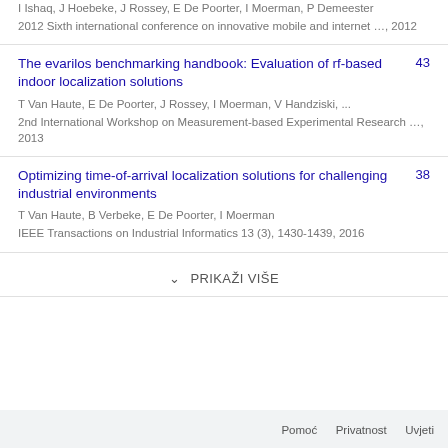I Ishaq, J Hoebeke, J Rossey, E De Poorter, I Moerman, P Demeester
2012 Sixth international conference on innovative mobile and internet …, 2012
The evarilos benchmarking handbook: Evaluation of rf-based indoor localization solutions — T Van Haute, E De Poorter, J Rossey, I Moerman, V Handziski, ... — 2nd International Workshop on Measurement-based Experimental Research …, 2013 — 43
Optimizing time-of-arrival localization solutions for challenging industrial environments — T Van Haute, B Verbeke, E De Poorter, I Moerman — IEEE Transactions on Industrial Informatics 13 (3), 1430-1439, 2016 — 38
PRIKAŽI VIŠE
Pomoć   Privatnost   Uvjeti